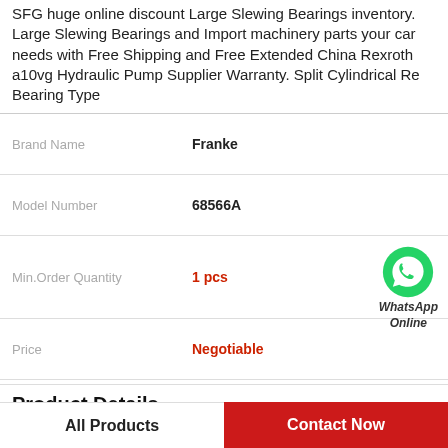SFG huge online discount Large Slewing Bearings inventory. Large Slewing Bearings and Import machinery parts your car needs with Free Shipping and Free Extended China Rexroth a10vg Hydraulic Pump Supplier Warranty. Split Cylindrical Re Bearing Type
| Brand Name | Franke |
| --- | --- |
| Model Number | 68566A |
| Min.Order Quantity | 1 pcs |
| Price | Negotiable |
Product Details
| Bearing Type | Split Cylindrical Re |
| --- | --- |
| Dimension Type | 15.0 in |
All Products
Contact Now